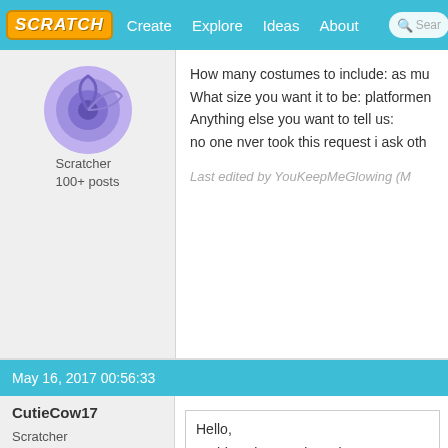SCRATCH | Create | Explore | Ideas | About | Search
How many costumes to include: as mu
What size you want it to be: platformen
Anything else you want to tell us:
no one nver took this request i ask oth
Last edited by YouKeepMeGlowing (M
Scratcher
100+ posts
May 16, 2017 00:56:33
CutieCow17
[Figure (illustration): Avatar image of CutieCow17 showing a cartoon cow with text CutieCow17 above it, on a light purple/blue rounded rectangle background]
Scratcher
1000+ posts
Hello,

At this point, Austinato has propose cabinet of Vice President and Secr instead, passed through the partici representatives, please review the vote yes, no, or neutral. Votes will votes received afterwards will ne

The Proposal